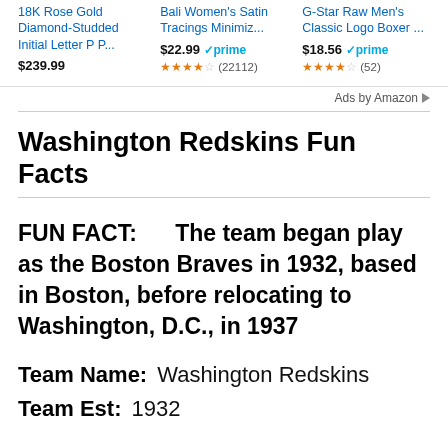[Figure (screenshot): Amazon ad banner with three product listings: 18K Rose Gold Diamond-Studded Initial Letter P P... at $239.99; Bali Women's Satin Tracings Minimiz... at $22.99 with prime badge, 3.5 stars (22112 reviews); G-Star Raw Men's Classic Logo Boxer... at $18.56 with prime badge, 3.5 stars (52 reviews). 'Ads by Amazon' label with arrow icon at bottom right.]
Washington Redskins Fun Facts
FUN FACT:      The team began play as the Boston Braves in 1932, based in Boston, before relocating to Washington, D.C., in 1937
Team Name:    Washington Redskins
Team Est:    1932